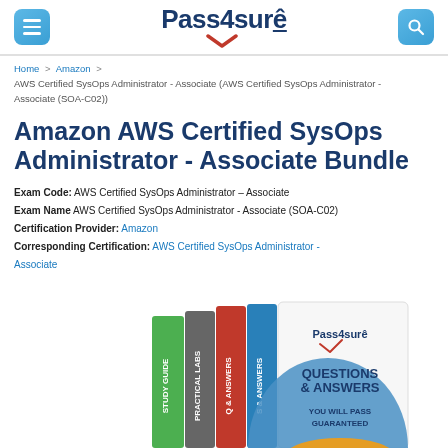Pass4sure [logo with hamburger menu and search icons]
Home > Amazon > AWS Certified SysOps Administrator - Associate (AWS Certified SysOps Administrator - Associate (SOA-C02))
Amazon AWS Certified SysOps Administrator - Associate Bundle
Exam Code: AWS Certified SysOps Administrator - Associate
Exam Name AWS Certified SysOps Administrator - Associate (SOA-C02)
Certification Provider: Amazon
Corresponding Certification: AWS Certified SysOps Administrator - Associate
[Figure (photo): Stack of Pass4sure study guide books with Questions & Answers and You Will Pass Guaranteed text]